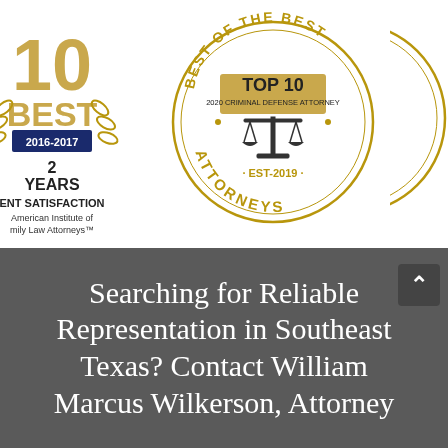[Figure (logo): 10 Best award badge for 2016-2017, 2 Years Client Satisfaction, American Institute of Family Law Attorneys]
[Figure (logo): Best of the Best Top 10, 2020 Criminal Defense Attorney, EST-2019, Attorneys circular badge with scales of justice]
[Figure (logo): Partially visible third award badge on right edge]
Searching for Reliable Representation in Southeast Texas? Contact William Marcus Wilkerson, Attorney